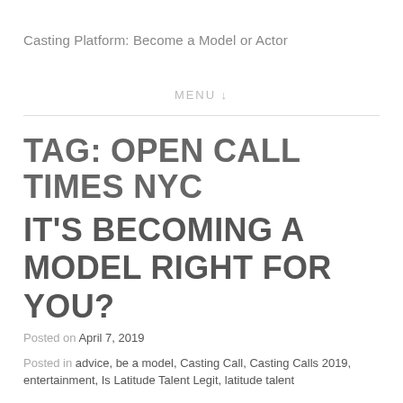Casting Platform: Become a Model or Actor
MENU ↓
TAG: OPEN CALL TIMES NYC
IT'S BECOMING A MODEL RIGHT FOR YOU?
Posted on April 7, 2019
Posted in advice, be a model, Casting Call, Casting Calls 2019, entertainment, Is Latitude Talent Legit, latitude talent